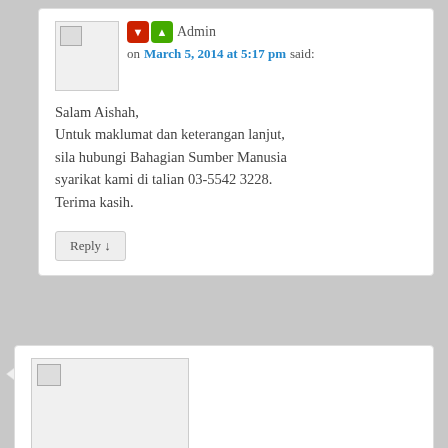Admin on March 5, 2014 at 5:17 pm said:
Salam Aishah,
Untuk maklumat dan keterangan lanjut, sila hubungi Bahagian Sumber Manusia syarikat kami di talian 03-5542 3228.
Terima kasih.
Reply ↓
amira on April 12, 2014 at 11:30 pm said:
hi. Can i get a sponsor from gardenia for my college events? do i need to call or email, if i make